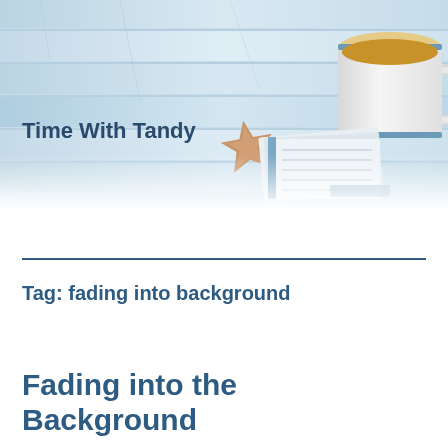[Figure (photo): Photo of a wooden surface (light blue/white planks) with a white ceramic coffee mug filled with coffee in the upper right, a starfish/sea star in the center, and an open book or notebook with a blue cover below them.]
Time With Tandy
Tag: fading into background
Fading into the Background